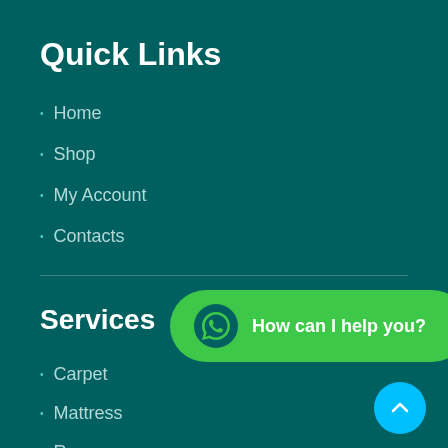Quick Links
Home
Shop
My Account
Contacts
Services
Carpet
Mattress
Rug
Sofa
Leather Sofa
[Figure (other): WhatsApp chat button with text 'How can I help you?']
[Figure (other): Scroll to top button with upward chevron arrow]